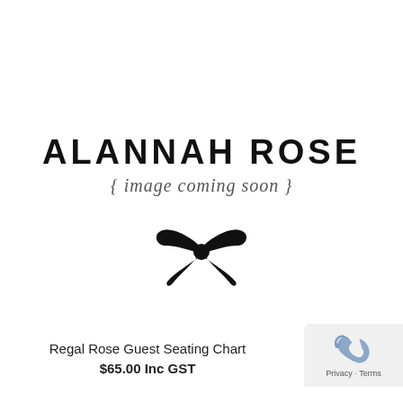[Figure (logo): Alannah Rose brand placeholder image with brand name in bold uppercase, italic curly-brace text '{ image coming soon }', and a black bow icon below]
Regal Rose Guest Seating Chart
$65.00 Inc GST